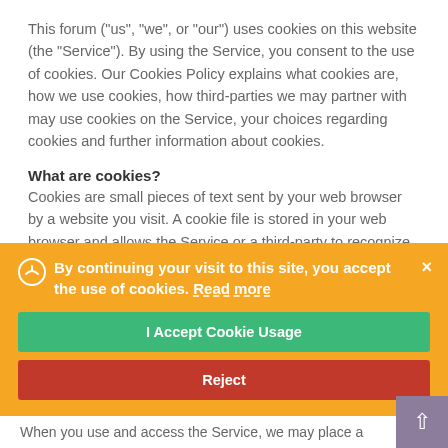This forum ("us", "we", or "our") uses cookies on this website (the "Service"). By using the Service, you consent to the use of cookies. Our Cookies Policy explains what cookies are, how we use cookies, how third-parties we may partner with may use cookies on the Service, your choices regarding cookies and further information about cookies.
What are cookies?
Cookies are small pieces of text sent by your web browser by a website you visit. A cookie file is stored in your web browser and allows the Service or a third-party to recognize you and make your next visit easier and the Service more useful to you.
Cookies can be "persistent" or "session" cookies.
By continuing your visit to this site, you accept the use of cookies. Read more
I Accept Cookie Usage
Reject
When you use and access the Service, we may place a